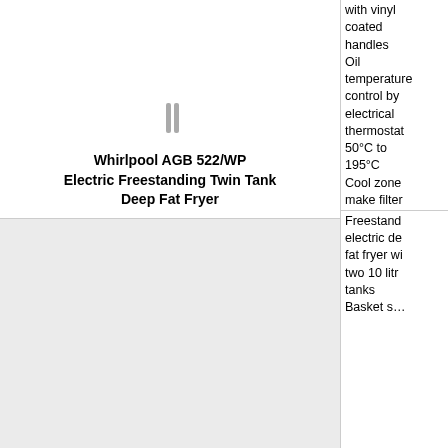[Figure (photo): Top portion of a Whirlpool AGB 522/WP Electric Freestanding Twin Tank Deep Fat Fryer product image, showing the handles at the top.]
Whirlpool AGB 522/WP Electric Freestanding Twin Tank Deep Fat Fryer
with vinyl coated handles Oil temperature control by electrical thermostat 50°C to 195°C Cool zone make filtering and changing oil simple and quick Warranty: One Year parts and labour Electric rated 6.2kW 400mm x 700mm x 875mm
Freestanding electric deep fat fryer with two 10 litre tanks Basket...